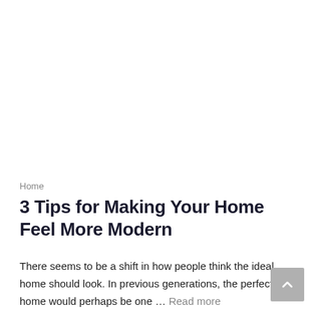Home
3 Tips for Making Your Home Feel More Modern
There seems to be a shift in how people think the ideal home should look. In previous generations, the perfect home would perhaps be one … Read more